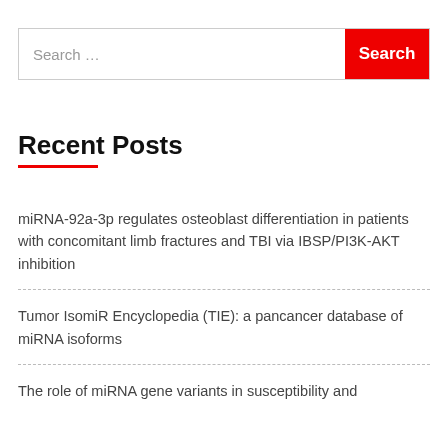Search …
Recent Posts
miRNA-92a-3p regulates osteoblast differentiation in patients with concomitant limb fractures and TBI via IBSP/PI3K-AKT inhibition
Tumor IsomiR Encyclopedia (TIE): a pancancer database of miRNA isoforms
The role of miRNA gene variants in susceptibility and